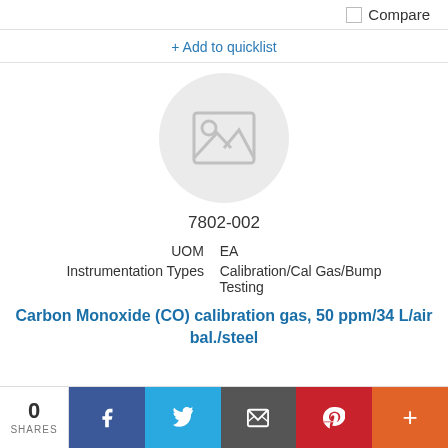Compare
+ Add to quicklist
[Figure (illustration): Placeholder product image: grey circle with image icon (mountain/sun) in center]
7802-002
| UOM | EA |
| Instrumentation Types | Calibration/Cal Gas/Bump Testing |
Carbon Monoxide (CO) calibration gas, 50 ppm/34 L/air bal./steel
0 SHARES
f (Facebook share)
(Twitter share)
(Email share)
(Pinterest share)
+ (More share)